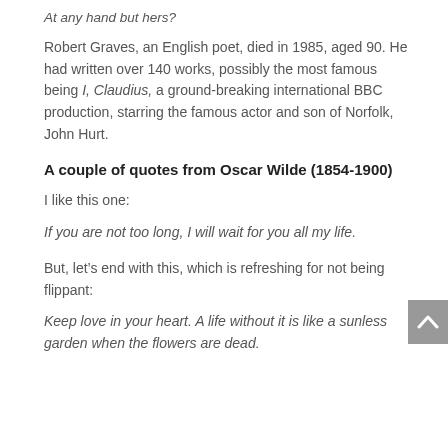At any hand but hers?
Robert Graves, an English poet, died in 1985, aged 90. He had written over 140 works, possibly the most famous being I, Claudius, a ground-breaking international BBC production, starring the famous actor and son of Norfolk, John Hurt.
A couple of quotes from Oscar Wilde (1854-1900)
I like this one:
If you are not too long, I will wait for you all my life.
But, let’s end with this, which is refreshing for not being flippant:
Keep love in your heart. A life without it is like a sunless garden when the flowers are dead.